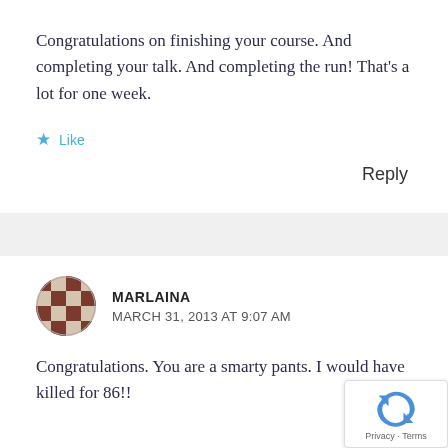Congratulations on finishing your course. And completing your talk. And completing the run! That's a lot for one week.
Like
Reply
MARLAINA
MARCH 31, 2013 AT 9:07 AM
Congratulations. You are a smarty pants. I would have killed for 86!!